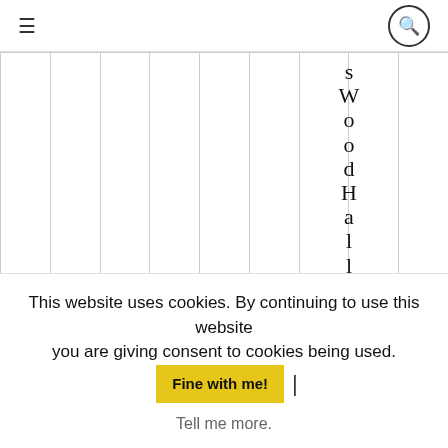≡   [search icon]
s W o o d H a l l h o u
This website uses cookies. By continuing to use this website you are giving consent to cookies being used.  Fine with me!  |  Tell me more.